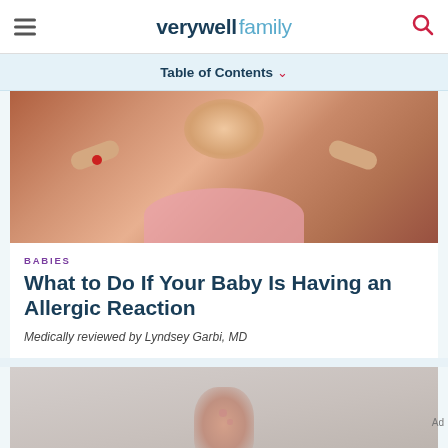verywell family
Table of Contents
[Figure (photo): Baby lying on its back with arms raised, wearing a pink outfit, being cared for by an adult]
BABIES
What to Do If Your Baby Is Having an Allergic Reaction
Medically reviewed by Lyndsey Garbi, MD
[Figure (photo): Close-up of a baby's skin showing a rash or allergic reaction, blurred background]
Ad
[Figure (other): Target advertisement banner: Try FREE Drive Up for baby essentials, Shop now button]